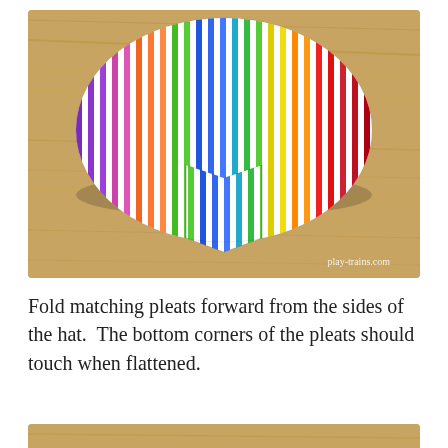[Figure (photo): A circular piece of rainbow-striped paper (white background with colored vertical stripes in rainbow order) folded into a hat shape with pleats, resting on a wooden surface. Watermark reads play-trains.com in the bottom right corner.]
Fold matching pleats forward from the sides of the hat.  The bottom corners of the pleats should touch when flattened.
[Figure (photo): Partial view of another step photo, cropped at bottom of page.]